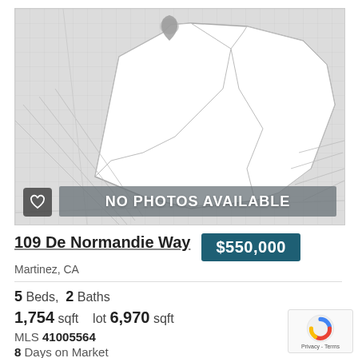[Figure (map): Map showing property parcel outline with NO PHOTOS AVAILABLE overlay and heart/favorite button]
109 De Normandie Way
$550,000
Martinez, CA
5 Beds, 2 Baths
1,754 sqft  lot 6,970 sqft
MLS 41005564
8 Days on Market